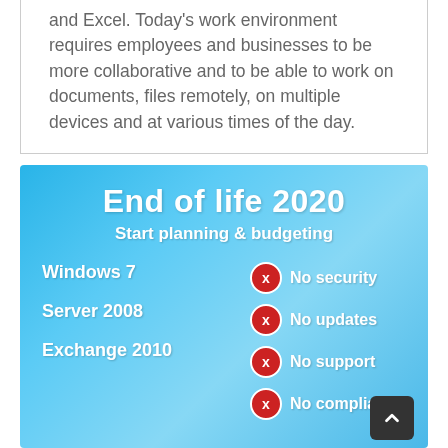and Excel. Today's work environment requires employees and businesses to be more collaborative and to be able to work on documents, files remotely, on multiple devices and at various times of the day.
[Figure (infographic): End of life 2020 infographic on a blue sky background. Title: 'End of life 2020', subtitle: 'Start planning & budgeting'. Left column lists: Windows 7, Server 2008, Exchange 2010. Right column with red X circles lists: No security, No updates, No support, No compliance.]